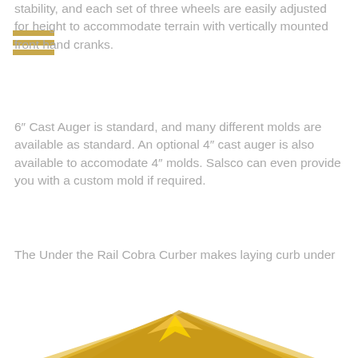stability, and each set of three wheels are easily adjusted for height to accommodate terrain with vertically mounted front hand cranks.
6″ Cast Auger is standard, and many different molds are available as standard. An optional 4″ cast auger is also available to accomodate 4″ molds. Salsco can even provide you with a custom mold if required.
The Under the Rail Cobra Curber makes laying curb under guard rails simple and efficient.
[Figure (photo): Partial view of yellow/gold colored curbing machine equipment at the bottom of the page]